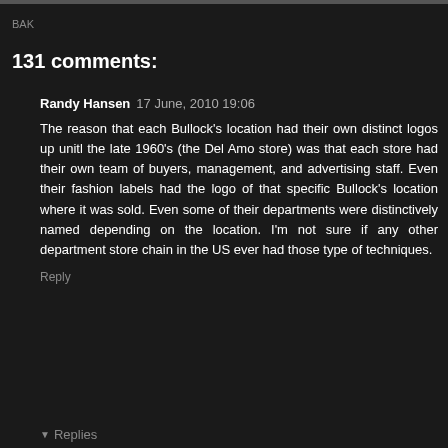BAK
131 comments:
Randy Hansen  17 June, 2010 19:06
The reason that each Bullock's location had their own distinct logos up unitl the late 1960's (the Del Amo store) was that each store had their own team of buyers, management, and advertising staff. Even their fashion labels had the logo of that specific Bullock's location where it was sold. Even some of their departments were distinctively named depending on the location. I'm not sure if any other department store chain in the US ever had those type of techniques.
Reply
▼ Replies